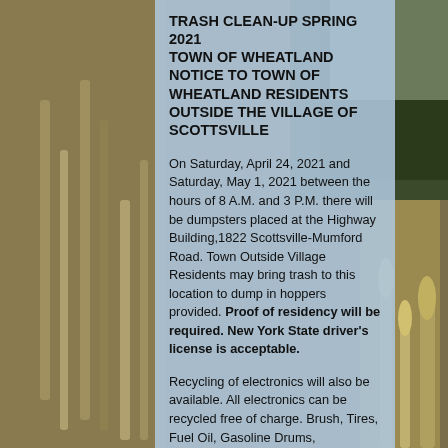TRASH CLEAN-UP SPRING 2021 TOWN OF WHEATLAND NOTICE TO TOWN OF WHEATLAND RESIDENTS OUTSIDE THE VILLAGE OF SCOTTSVILLE
On Saturday, April 24, 2021 and Saturday, May 1, 2021 between the hours of 8 A.M. and 3 P.M. there will be dumpsters placed at the Highway Building,1822 Scottsville-Mumford Road. Town Outside Village Residents may bring trash to this location to dump in hoppers provided. Proof of residency will be required. New York State driver's license is acceptable.
Recycling of electronics will also be available. All electronics can be recycled free of charge. Brush, Tires, Fuel Oil, Gasoline Drums, Refrigerators,
[Figure (photo): Outdoor nature/wheat field background photo visible on left and right sides of the page behind the blue content panel]